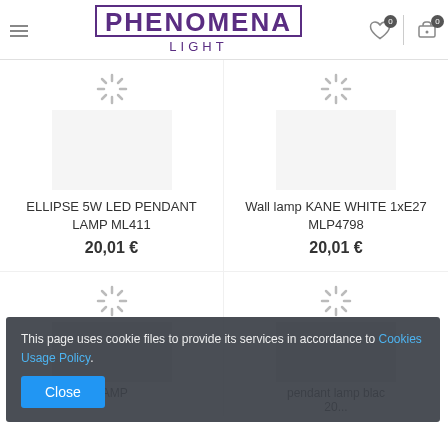PHENOMENA LIGHT
ELLIPSE 5W LED PENDANT LAMP ML411
20,01 €
Wall lamp KANE WHITE 1xE27 MLP4798
20,01 €
[Figure (screenshot): Loading spinner icon (top of second row, left)]
[Figure (screenshot): Loading spinner icon (top of second row, right)]
LAMP
pendant lamp blac
20...
This page uses cookie files to provide its services in accordance to Cookies Usage Policy.
Close